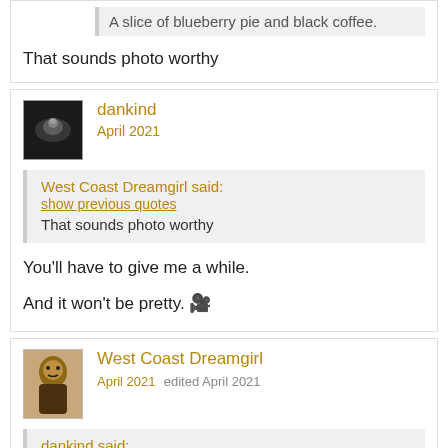A slice of blueberry pie and black coffee.
That sounds photo worthy
dankind
April 2021
West Coast Dreamgirl said: show previous quotes That sounds photo worthy
You'll have to give me a while.
And it won't be pretty. 🎥
West Coast Dreamgirl
April 2021 edited April 2021
dankind said: show previous quotes